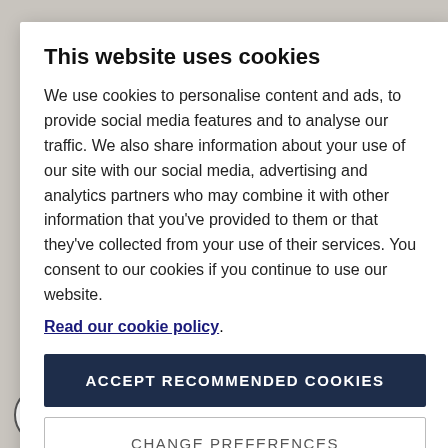This website uses cookies
We use cookies to personalise content and ads, to provide social media features and to analyse our traffic. We also share information about your use of our site with our social media, advertising and analytics partners who may combine it with other information that you've provided to them or that they've collected from your use of their services. You consent to our cookies if you continue to use our website.
Read our cookie policy.
ACCEPT RECOMMENDED COOKIES
CHANGE PREFERENCES
Why choose IWSC?
How to enter
Deadlines
Why choose IWSC?
How to enter
Deadlines